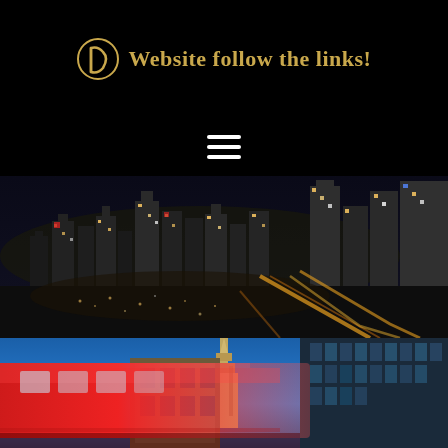[Figure (logo): Gold circular logo icon with stylized 'D' letter design on black background]
Website follow the links!
[Figure (other): White hamburger menu icon (three horizontal lines) on black background]
[Figure (photo): Night aerial photograph of a city skyline with illuminated skyscrapers and glowing road trails, Frankfurt cityscape at night]
[Figure (photo): Street level photo showing a red double-decker bus in motion blur alongside an illuminated building spire and modern glass building facade against a blue dusk sky]